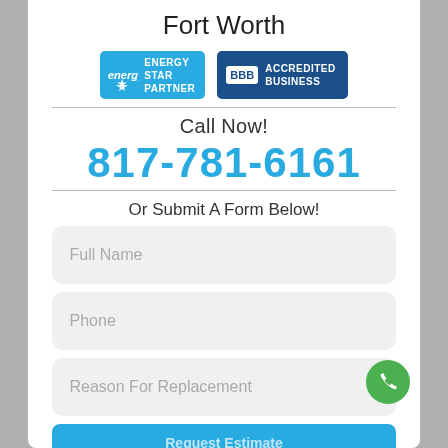Fort Worth
[Figure (logo): Energy Star Partner badge (blue background with star and text 'ENERGY STAR PARTNER') and BBB Accredited Business badge (dark blue background with BBB logo and text 'ACCREDITED BUSINESS')]
Call Now!
817-781-6161
Or Submit A Form Below!
Full Name
Phone
Reason For Replacement